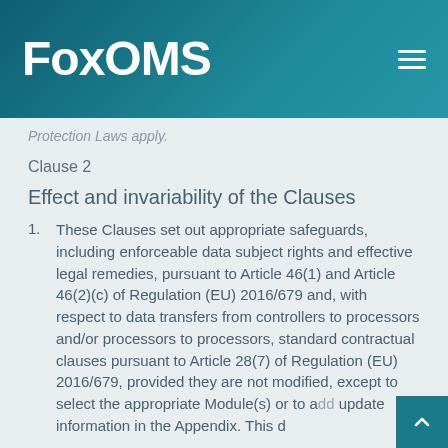FoxOMS
Protection Laws apply.
Clause 2
Effect and invariability of the Clauses
These Clauses set out appropriate safeguards, including enforceable data subject rights and effective legal remedies, pursuant to Article 46(1) and Article 46(2)(c) of Regulation (EU) 2016/679 and, with respect to data transfers from controllers to processors and/or processors to processors, standard contractual clauses pursuant to Article 28(7) of Regulation (EU) 2016/679, provided they are not modified, except to select the appropriate Module(s) or to add update information in the Appendix. This d